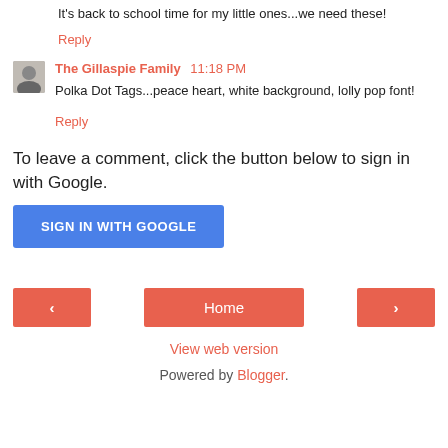It's back to school time for my little ones...we need these!
Reply
The Gillaspie Family  11:18 PM
Polka Dot Tags...peace heart, white background, lolly pop font!
Reply
To leave a comment, click the button below to sign in with Google.
SIGN IN WITH GOOGLE
Home
View web version
Powered by Blogger.